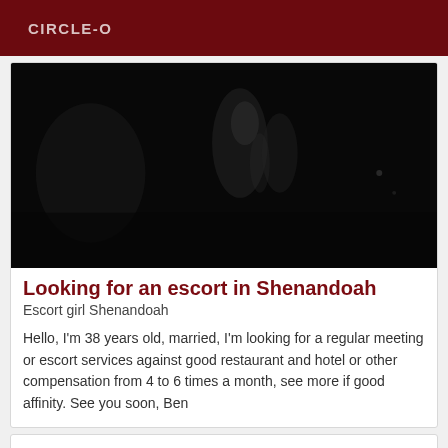CIRCLE-O
[Figure (photo): Dark, nearly black photograph — very low light image, faint silhouette shapes visible against a dark background]
Looking for an escort in Shenandoah
Escort girl Shenandoah
Hello, I'm 38 years old, married, I'm looking for a regular meeting or escort services against good restaurant and hotel or other compensation from 4 to 6 times a month, see more if good affinity. See you soon, Ben